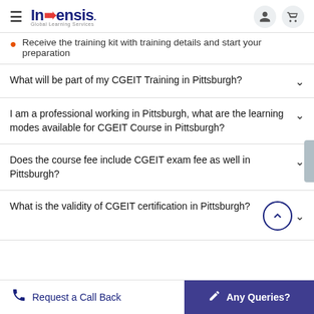Invensis Global Learning Services
Receive the training kit with training details and start your preparation
What will be part of my CGEIT Training in Pittsburgh?
I am a professional working in Pittsburgh, what are the learning modes available for CGEIT Course in Pittsburgh?
Does the course fee include CGEIT exam fee as well in Pittsburgh?
What is the validity of CGEIT certification in Pittsburgh?
Request a Call Back | Any Queries?